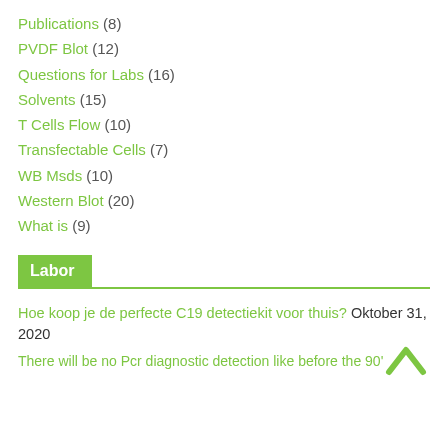Publications (8)
PVDF Blot (12)
Questions for Labs (16)
Solvents (15)
T Cells Flow (10)
Transfectable Cells (7)
WB Msds (10)
Western Blot (20)
What is (9)
Labor
Hoe koop je de perfecte C19 detectiekit voor thuis? Oktober 31, 2020
There will be no Pcr diagnostic detection like before the 90'